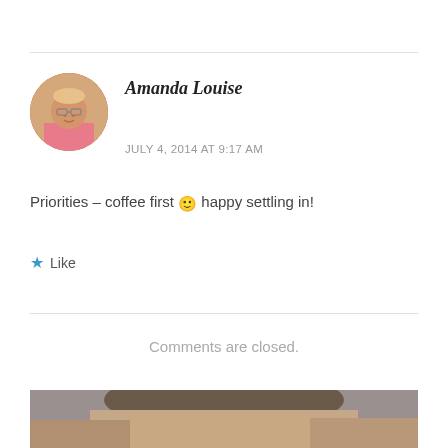[Figure (photo): Circular avatar photo of Amanda Louise, showing a young child with glasses]
Amanda Louise
JULY 4, 2014 AT 9:17 AM
Priorities – coffee first 🙂 happy settling in!
★ Like
Comments are closed.
[Figure (photo): Partial photo visible at the bottom of the page, appears to show a person's face/hair]